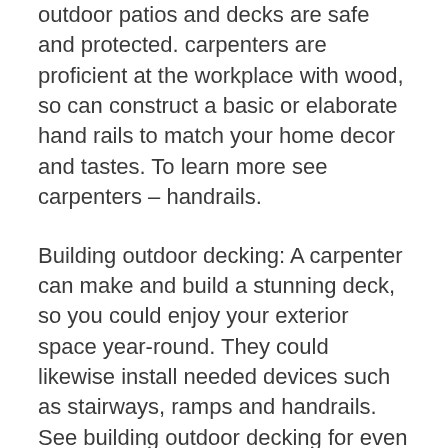outdoor patios and decks are safe and protected. carpenters are proficient at the workplace with wood, so can construct a basic or elaborate hand rails to match your home decor and tastes. To learn more see carpenters – handrails.
Building outdoor decking: A carpenter can make and build a stunning deck, so you could enjoy your exterior space year-round. They could likewise install needed devices such as stairways, ramps and handrails. See building outdoor decking for even more.
Architraves: These are an appealing function in any type of house, as they walk around windows or doors to